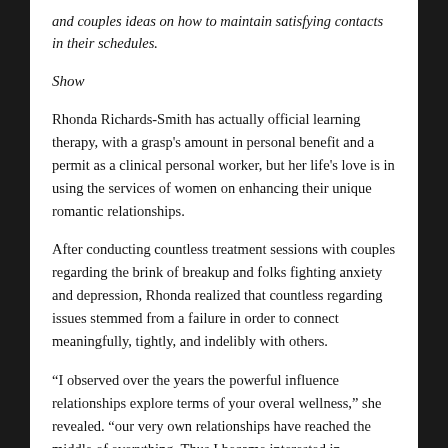and couples ideas on how to maintain satisfying contacts in their schedules.
Show
Rhonda Richards-Smith has actually official learning therapy, with a grasp's amount in personal benefit and a permit as a clinical personal worker, but her life's love is in using the services of women on enhancing their unique romantic relationships.
After conducting countless treatment sessions with couples regarding the brink of breakup and folks fighting anxiety and depression, Rhonda realized that countless regarding issues stemmed from a failure in order to connect meaningfully, tightly, and indelibly with others.
“I observed over the years the powerful influence relationships explore terms of your overal wellness,” she revealed. “our very own relationships have reached the middle of everything. Thus I became interested in exploring